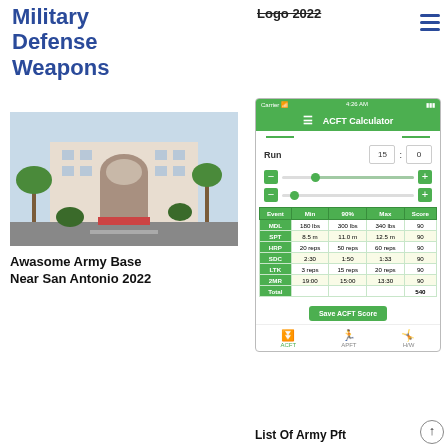Military Defense Weapons
[Figure (photo): Awasome Army Base Near San Antonio 2022 - hotel/military base building with palm trees]
Awasome Army Base Near San Antonio 2022
Logo 2022
[Figure (screenshot): ACFT Calculator mobile app screenshot showing Run input (15:0), sliders, and a table with events MDL, SPT, HRP, SDC, LTK, 2MR with Min, 90%, Max, Score columns]
| Event | Min | 90% | Max | Score |
| --- | --- | --- | --- | --- |
| MDL | 180 lbs | 300 lbs | 340 lbs | 90 |
| SPT | 8.5 m | 11.0 m | 12.5 m | 90 |
| HRP | 20 reps | 50 reps | 60 reps | 90 |
| SDC | 2:30 | 1:50 | 1:33 | 90 |
| LTK | 3 reps | 15 reps | 20 reps | 90 |
| 2MR | 19:00 | 15:00 | 13:30 | 90 |
| Total |  |  |  | 540 |
List Of Army Pft